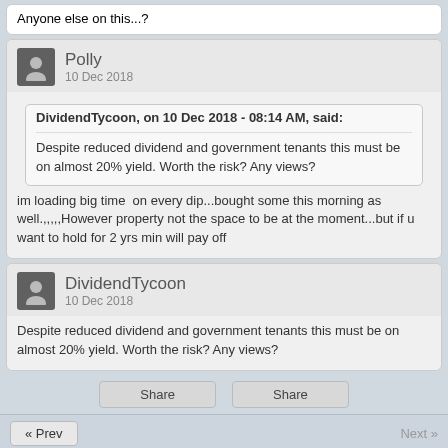Anyone else on this...?
Polly
10 Dec 2018
DividendTycoon, on 10 Dec 2018 - 08:14 AM, said:
Despite reduced dividend and government tenants this must be on almost 20% yield. Worth the risk? Any views?
im loading big time  on every dip...bought some this morning as well.,,,,,However property not the space to be at the moment...but if u want to hold for 2 yrs min will pay off
DividendTycoon
10 Dec 2018
Despite reduced dividend and government tenants this must be on almost 20% yield. Worth the risk? Any views?
« Prev    Next »